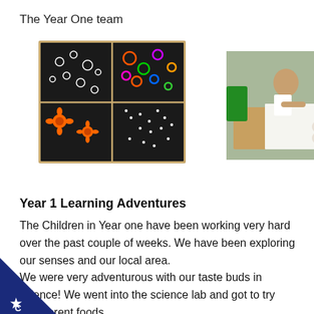The Year One team
[Figure (photo): Four panels of children's artwork on black paper showing orange floral patterns, colorful rings, white splatter designs, and orange sunflower shapes]
[Figure (photo): Children sitting at a table painting with watercolors, paint pots visible, school classroom setting]
Year 1 Learning Adventures
The Children in Year one have been working very hard over the past couple of weeks. We have been exploring our senses and our local area. We were very adventurous with our taste buds in science! We went into the science lab and got to try different foods.. of them were delicious but some of them